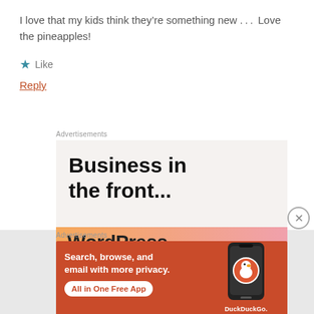I love that my kids think they’re something new… Love the pineapples!
★ Like
Reply
Advertisements
[Figure (screenshot): WordPress advertisement: 'Business in the front...' with orange/pink gradient bar and WordPress logo text]
Advertisements
[Figure (screenshot): DuckDuckGo advertisement: 'Search, browse, and email with more privacy. All in One Free App' on orange/red background with phone mockup and DuckDuckGo logo]